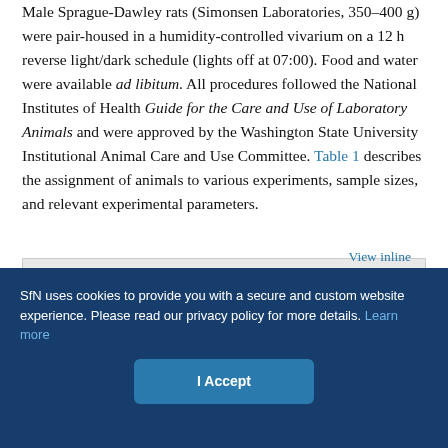Male Sprague-Dawley rats (Simonsen Laboratories, 350–400 g) were pair-housed in a humidity-controlled vivarium on a 12 h reverse light/dark schedule (lights off at 07:00). Food and water were available ad libitum. All procedures followed the National Institutes of Health Guide for the Care and Use of Laboratory Animals and were approved by the Washington State University Institutional Animal Care and Use Committee. Table 1 describes the assignment of animals to various experiments, sample sizes, and relevant experimental parameters.
| Table 1. | Assignment of animals and experimental parameters | View inline |
DRUGS.
SfN uses cookies to provide you with a secure and custom website experience. Please read our privacy policy for more details. Learn more